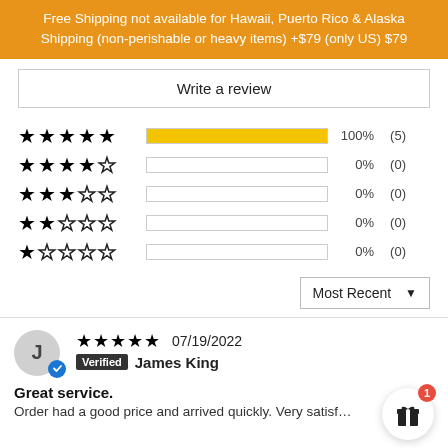Free Shipping not available for Hawaii, Puerto Rico & Alaska Shipping (non-perishable or heavy items) +$79 (only US) $79
Write a review
[Figure (bar-chart): Star Rating Distribution]
Most Recent
07/19/2022
Verified  James King
Great service.
Order had a good price and arrived quickly. Very satisf…